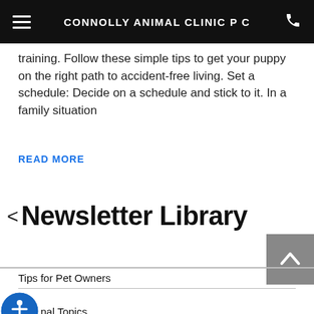CONNOLLY ANIMAL CLINIC P C
training. Follow these simple tips to get your puppy on the right path to accident-free living. Set a schedule: Decide on a schedule and stick to it. In a family situation
READ MORE
< Newsletter Library
Tips for Pet Owners
General Topics